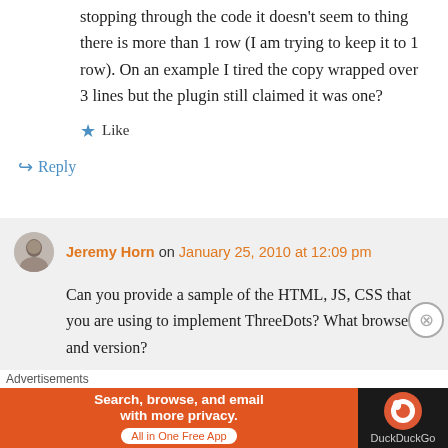stopping through the code it doesn't seem to thing there is more than 1 row (I am trying to keep it to 1 row). On an example I tired the copy wrapped over 3 lines but the plugin still claimed it was one?
★ Like
↪ Reply
Jeremy Horn on January 25, 2010 at 12:09 pm
Can you provide a sample of the HTML, JS, CSS that you are using to implement ThreeDots? What browser and version?
Advertisements
[Figure (infographic): DuckDuckGo advertisement banner: orange left side with text 'Search, browse, and email with more privacy. All in One Free App', dark right side with DuckDuckGo logo]